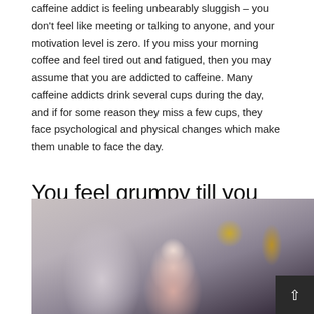caffeine addict is feeling unbearably sluggish – you don't feel like meeting or talking to anyone, and your motivation level is zero. If you miss your morning coffee and feel tired out and fatigued, then you may assume that you are addicted to caffeine. Many caffeine addicts drink several cups during the day, and if for some reason they miss a few cups, they face psychological and physical changes which make them unable to face the day.
You feel grumpy till you drink coffee
[Figure (photo): A woman wearing a white head covering, with a dark background featuring decorative golden elements. Partial view of another person visible on the left side.]